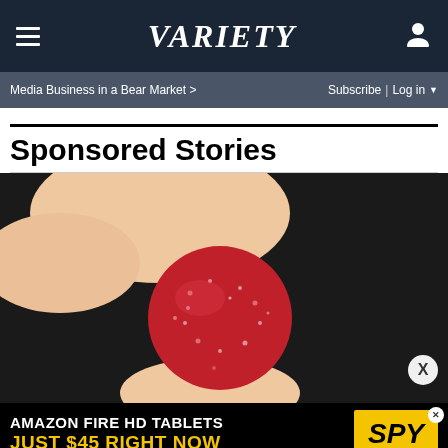VARIETY — Media Business in a Bear Market > | Subscribe | Log in
Sponsored Stories
[Figure (photo): Close-up photo of a hand holding a red sugary gummy candy against a dark background]
[Figure (infographic): Amazon Fire HD Tablets advertisement banner: 'AMAZON FIRE HD TABLETS JUST $45 RIGHT NOW' with SPY logo on yellow background]